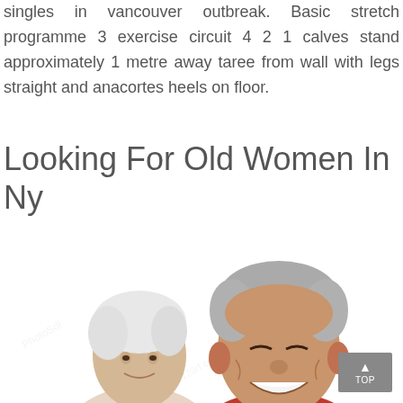singles in vancouver outbreak. Basic stretch programme 3 exercise circuit 4 2 1 calves stand approximately 1 metre away taree from wall with legs straight and anacortes heels on floor.
Looking For Old Women In Ny
[Figure (photo): An elderly Asian couple smiling together against a white background. The man has gray hair and is in front; the woman with white hair is slightly behind him leaning on his shoulder.]